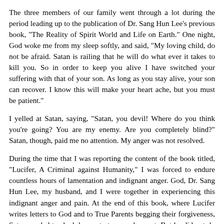The three members of our family went through a lot during the period leading up to the publication of Dr. Sang Hun Lee's previous book, "The Reality of Spirit World and Life on Earth." One night, God woke me from my sleep softly, and said, "My loving child, do not be afraid. Satan is railing that he will do what ever it takes to kill you. So in order to keep you alive I have switched your suffering with that of your son. As long as you stay alive, your son can recover. I know this will make your heart ache, but you must be patient."
I yelled at Satan, saying, "Satan, you devil! Where do you think you're going? You are my enemy. Are you completely blind?" Satan, though, paid me no attention. My anger was not resolved.
During the time that I was reporting the content of the book titled, "Lucifer, A Criminal against Humanity," I was forced to endure countless hours of lamentation and indignant anger. God, Dr. Sang Hun Lee, my husband, and I were together in experiencing this indignant anger and pain. At the end of this book, where Lucifer writes letters to God and to True Parents begging their forgiveness, Satan needed to shed desperate tears and repent. But he did not do this. Instead he was without emotion, remorse, or tears. His attitude was that he was writing these letters only because he was forced into a situation where he had no other choice. In particular, he refused for a long time to write the letter of apology to humankind,